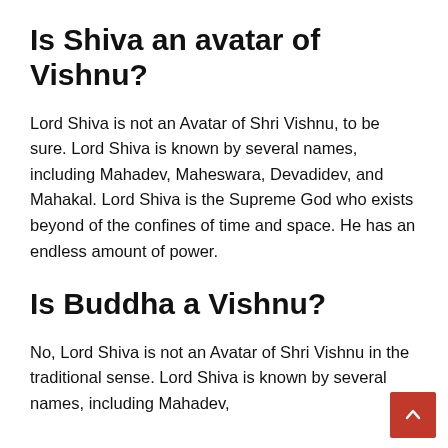Is Shiva an avatar of Vishnu?
Lord Shiva is not an Avatar of Shri Vishnu, to be sure. Lord Shiva is known by several names, including Mahadev, Maheswara, Devadidev, and Mahakal. Lord Shiva is the Supreme God who exists beyond of the confines of time and space. He has an endless amount of power.
Is Buddha a Vishnu?
No, Lord Shiva is not an Avatar of Shri Vishnu in the traditional sense. Lord Shiva is known by several names, including Mahadev,